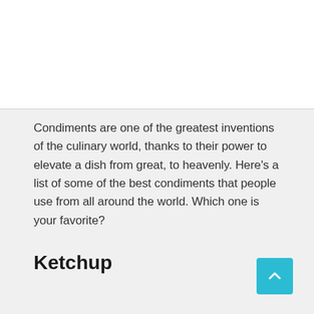[Figure (photo): White image placeholder area at the top of the page]
Condiments are one of the greatest inventions of the culinary world, thanks to their power to elevate a dish from great, to heavenly. Here’s a list of some of the best condiments that people use from all around the world. Which one is your favorite?
Ketchup